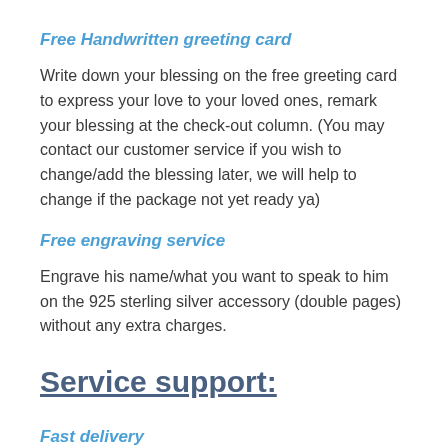Free Handwritten greeting card
Write down your blessing on the free greeting card to express your love to your loved ones, remark your blessing at the check-out column. (You may contact our customer service if you wish to change/add the blessing later, we will help to change if the package not yet ready ya)
Free engraving service
Engrave his name/what you want to speak to him on the 925 sterling silver accessory (double pages) without any extra charges.
Service support:
Fast delivery